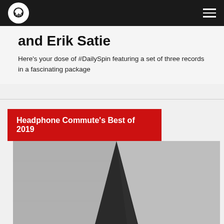Headphone Commute [logo] — navigation bar
and Erik Satie
Here's your dose of #DailySpin featuring a set of three records in a fascinating package
Headphone Commute's Best of 2019
[Figure (photo): Black and white abstract photo of a sharp triangular sculptural form against a concrete wall background]